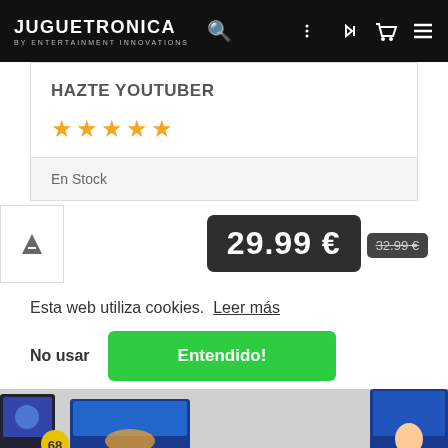JUGUETRONICA BY ENTERTAINMENT INNOVATIONS
HAZTE YOUTUBER
★★★★★
En Stock
29.99 €
32.99 €
Esta web utiliza cookies. Leer más
No usar
Entendido!
[Figure (photo): Product images strip at bottom of page including toy boxes]